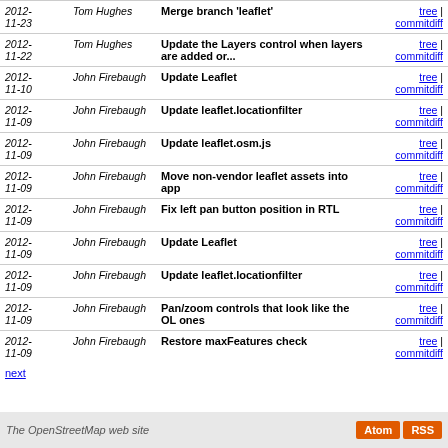| Date | Author | Message | Links |
| --- | --- | --- | --- |
| 2012-11-23 | Tom Hughes | Merge branch 'leaflet' | tree | commitdiff |
| 2012-11-22 | Tom Hughes | Update the Layers control when layers are added or... | tree | commitdiff |
| 2012-11-10 | John Firebaugh | Update Leaflet | tree | commitdiff |
| 2012-11-09 | John Firebaugh | Update leaflet.locationfilter | tree | commitdiff |
| 2012-11-09 | John Firebaugh | Update leaflet.osm.js | tree | commitdiff |
| 2012-11-09 | John Firebaugh | Move non-vendor leaflet assets into app | tree | commitdiff |
| 2012-11-09 | John Firebaugh | Fix left pan button position in RTL | tree | commitdiff |
| 2012-11-09 | John Firebaugh | Update Leaflet | tree | commitdiff |
| 2012-11-09 | John Firebaugh | Update leaflet.locationfilter | tree | commitdiff |
| 2012-11-09 | John Firebaugh | Pan/zoom controls that look like the OL ones | tree | commitdiff |
| 2012-11-09 | John Firebaugh | Restore maxFeatures check | tree | commitdiff |
next
The OpenStreetMap web site